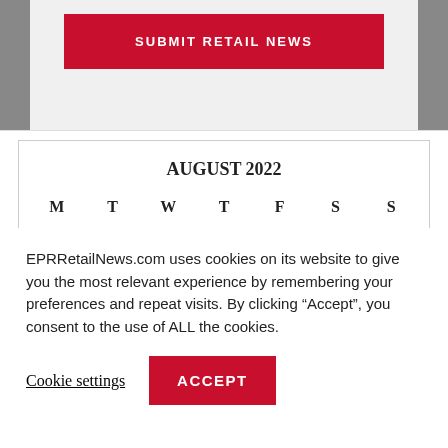[Figure (other): Red 'SUBMIT RETAIL NEWS' button on a light gray background with side image strips]
| M | T | W | T | F | S | S |
| --- | --- | --- | --- | --- | --- | --- |
| 1 | 2 | 3 | 4 | 5 | 6 | 7 |
| 8 | 9 | 10 | 11 | 12 | 13 | 14 |
| 15 | 16 | 17 | 18 | 19 | 20 | 21 |
| 22 | 23 | 24 | 25 | 26 | 27 | 28 |
| 29 | 30 | 31 |  |  |  |  |
EPRRetailNews.com uses cookies on its website to give you the most relevant experience by remembering your preferences and repeat visits. By clicking “Accept”, you consent to the use of ALL the cookies.
Cookie settings
ACCEPT